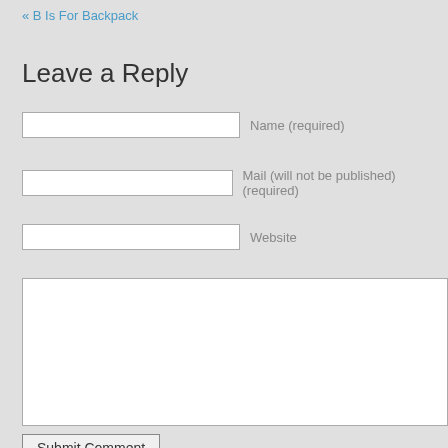« B Is For Backpack
Leave a Reply
Name (required)
Mail (will not be published) (required)
Website
Submit Comment